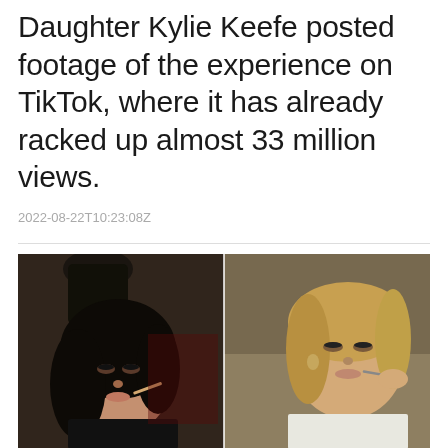Daughter Kylie Keefe posted footage of the experience on TikTok, where it has already racked up almost 33 million views.
2022-08-22T10:23:08Z
[Figure (photo): Two side-by-side photographs of women having makeup applied. Left: dark-haired woman getting lip makeup done, looking upward. Right: blonde woman having lip liner applied, looking toward camera.]